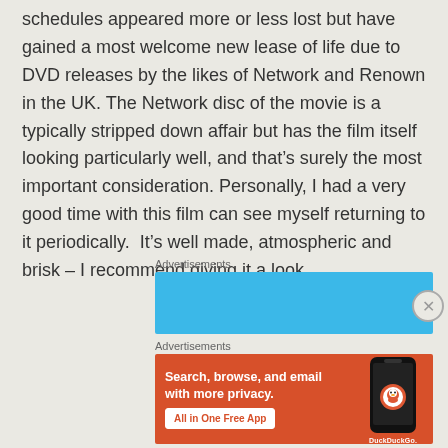schedules appeared more or less lost but have gained a most welcome new lease of life due to DVD releases by the likes of Network and Renown in the UK. The Network disc of the movie is a typically stripped down affair but has the film itself looking particularly well, and that's surely the most important consideration. Personally, I had a very good time with this film can see myself returning to it periodically.  It's well made, atmospheric and brisk – I recommend giving it a look.
[Figure (screenshot): Blue advertisement banner placeholder]
[Figure (screenshot): DuckDuckGo advertisement: Search, browse, and email with more privacy. All in One Free App.]